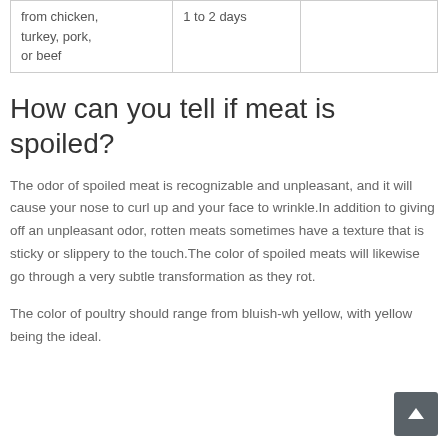|  |  |  |
| --- | --- | --- |
| from chicken, turkey, pork, or beef | 1 to 2 days |  |
How can you tell if meat is spoiled?
The odor of spoiled meat is recognizable and unpleasant, and it will cause your nose to curl up and your face to wrinkle.In addition to giving off an unpleasant odor, rotten meats sometimes have a texture that is sticky or slippery to the touch.The color of spoiled meats will likewise go through a very subtle transformation as they rot.
The color of poultry should range from bluish-wh yellow, with yellow being the ideal.